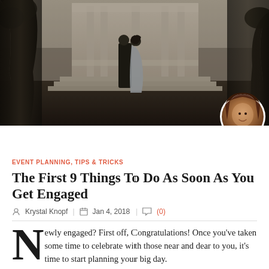[Figure (photo): Couple standing together in front of ornate classical building with columns and steps, flanked by dark trees on either side. Moody, romantic atmosphere with dark tones.]
EVENT PLANNING, TIPS & TRICKS
The First 9 Things To Do As Soon As You Get Engaged
Krystal Knopf   Jan 4, 2018   (0)
Newly engaged? First off, Congratulations! Once you've taken some time to celebrate with those near and dear to you, it's time to start planning your big day.